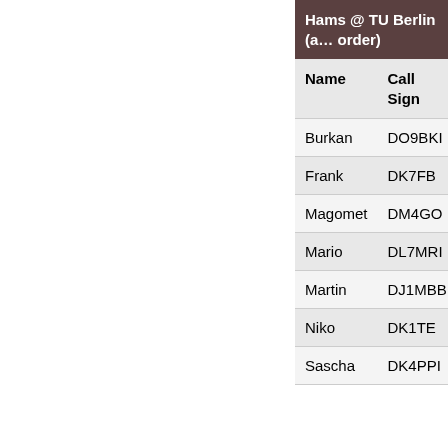| Name | Call Sign |
| --- | --- |
| Burkan | DO9BKI |
| Frank | DK7FB |
| Magomet | DM4GO |
| Mario | DL7MRI |
| Martin | DJ1MBB |
| Niko | DK1TE |
| Sascha | DK4PPI |